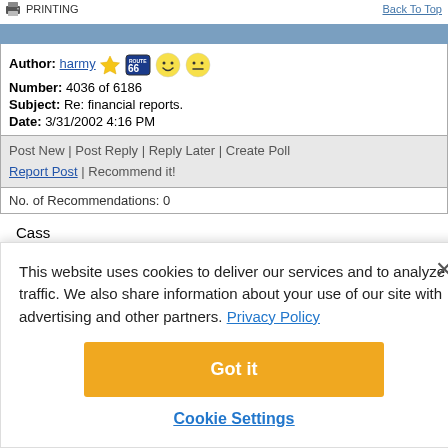PRINTING | Back To Top
Author: harmy [star][66][smiley][neutral]
Number: 4036 of 6186
Subject: Re: financial reports.
Date: 3/31/2002 4:16 PM
Post New | Post Reply | Reply Later | Create Poll
Report Post | Recommend it!
No. of Recommendations: 0
Cass
Thanks for the link to Lincoln Indicators - I didn't know it existed.
This website uses cookies to deliver our services and to analyze traffic. We also share information about your use of our site with advertising and other partners. Privacy Policy
Got it
Cookie Settings